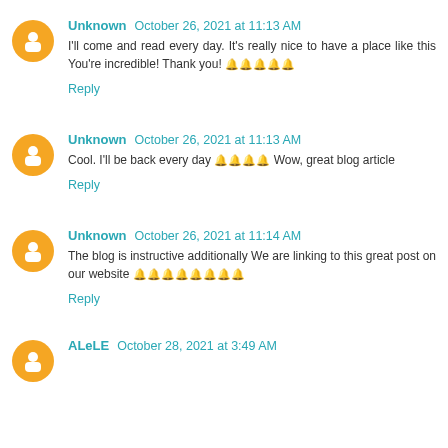Unknown October 26, 2021 at 11:13 AM — I'll come and read every day. It's really nice to have a place like this You're incredible! Thank you! 🔔🔔🔔🔔🔔
Reply
Unknown October 26, 2021 at 11:13 AM — Cool. I'll be back every day 🔔🔔🔔🔔 Wow, great blog article
Reply
Unknown October 26, 2021 at 11:14 AM — The blog is instructive additionally We are linking to this great post on our website 🔔🔔🔔🔔🔔🔔🔔🔔
Reply
ALeLE October 28, 2021 at 3:49 AM